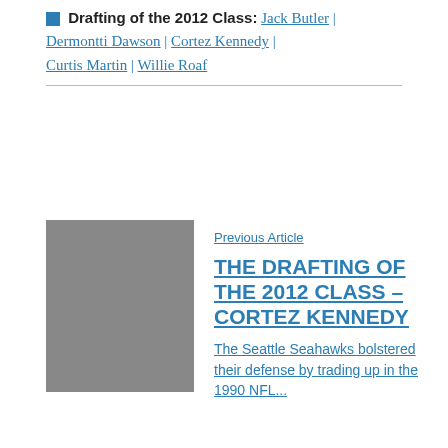Drafting of the 2012 Class: Jack Butler | Dermontti Dawson | Cortez Kennedy | Curtis Martin | Willie Roaf
[Figure (photo): Gray placeholder image thumbnail for article]
Previous Article
THE DRAFTING OF THE 2012 CLASS – CORTEZ KENNEDY
The Seattle Seahawks bolstered their defense by trading up in the 1990 NFL...